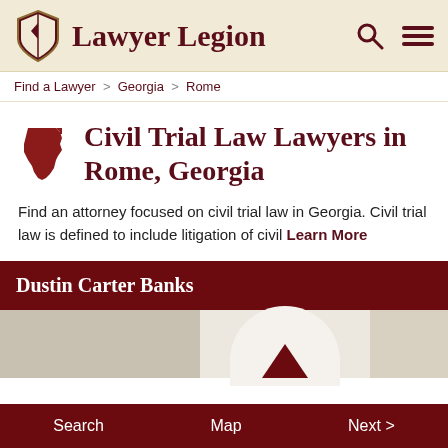Lawyer Legion
Find a Lawyer > Georgia > Rome
Civil Trial Law Lawyers in Rome, Georgia
Find an attorney focused on civil trial law in Georgia. Civil trial law is defined to include litigation of civil Learn More
Dustin Carter Banks
Search   Map   Next >